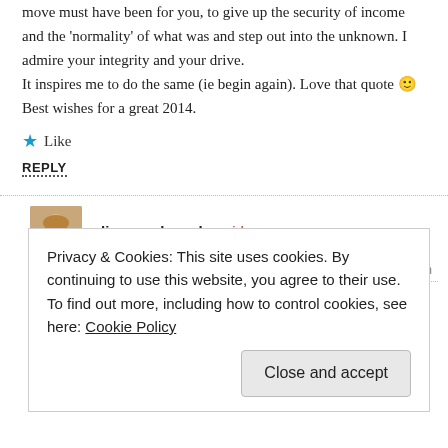move must have been for you, to give up the security of income and the ‘normality’ of what was and step out into the unknown. I admire your integrity and your drive.
It inspires me to do the same (ie begin again). Love that quote 😐
Best wishes for a great 2014.
★ Like
REPLY
dianasschwenk said:
January 8, 2014 at 3:47 pm
Privacy & Cookies: This site uses cookies. By continuing to use this website, you agree to their use.
To find out more, including how to control cookies, see here: Cookie Policy
Close and accept